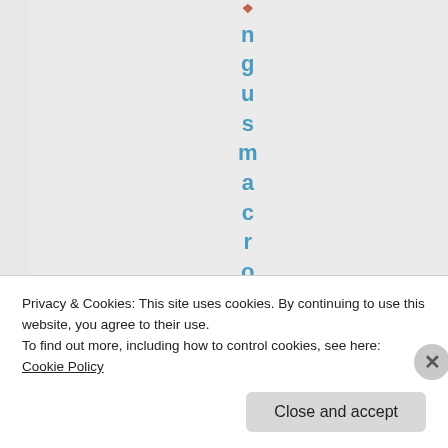[Figure (other): Vertical text spelling out letters 'n g u s m a c r o o n A u' stacked vertically in blue bold font, with a small orange/red icon at top. Appears to be part of a blog or website page title rendered vertically.]
Privacy & Cookies: This site uses cookies. By continuing to use this website, you agree to their use.
To find out more, including how to control cookies, see here: Cookie Policy
Close and accept